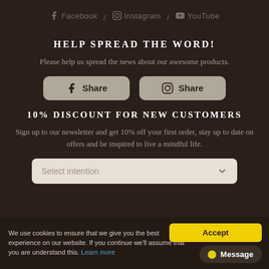f Facebook / Instagram / YouTube
HELP SPREAD THE WORD!
Please help us spread the news about our awesome products.
[Figure (infographic): Two share buttons: Facebook Share and Instagram Share]
10% DISCOUNT FOR NEW CUSTOMERS
Sign up to our newsletter and get 10% off your first order, stay up to date on offers and be inspired to live a mindful life.
[Figure (infographic): Dropdown selector labeled 'Select intention']
We use cookies to ensure that we give you the best experience on our website. If you continue we'll assume that you are understand this. Learn more